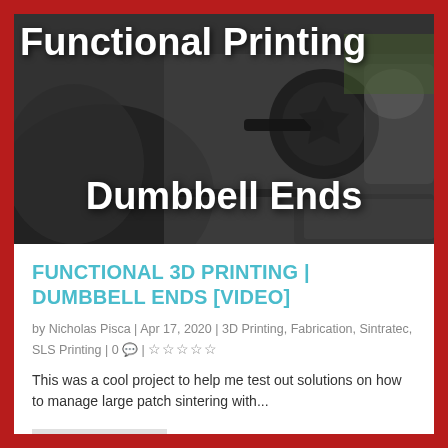[Figure (photo): Photo of a person using dumbbells in a gym/outdoor setting with text overlay reading 'Functional Printing Dumbbell Ends']
FUNCTIONAL 3D PRINTING | DUMBBELL ENDS [VIDEO]
by Nicholas Pisca | Apr 17, 2020 | 3D Printing, Fabrication, Sintratec, SLS Printing | 0 💬 | ★★★★★
This was a cool project to help me test out solutions on how to manage large patch sintering with...
READ MORE